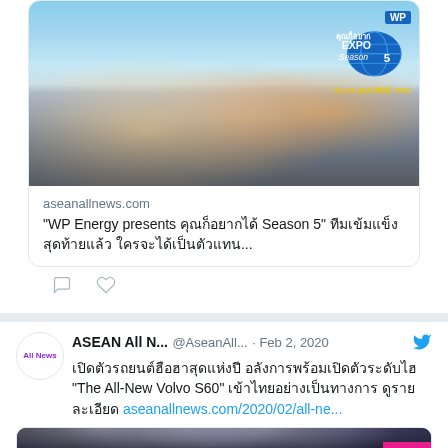[Figure (photo): Photo of group of men posing thumbs up at WP Energy EXPO Season 5 event, with blue backdrop showing Expo Season 5 branding]
aseanallnews.com
“WP Energy presents คุณก็อยากได้ Season 5” ทีมเข้มแข็ง สุดท้ายแล้ว ใครจะได้เป็นตัวแทน...
ASEAN All N... @AseanAll... · Feb 2, 2020
เปิดตัวรถยนต์ฮือสุดแห่งปี อลังคารพร้อมเปิดตัวระดับไฮ “The All-New Volvo S60” เข้าไทยอย่างเป็นทางการ ดูรายละเอียด aseanallnews.com/2020/02/all-ne...
[Figure (photo): Dark stage with dramatic spotlights, bottom of article card for Volvo S60 launch]